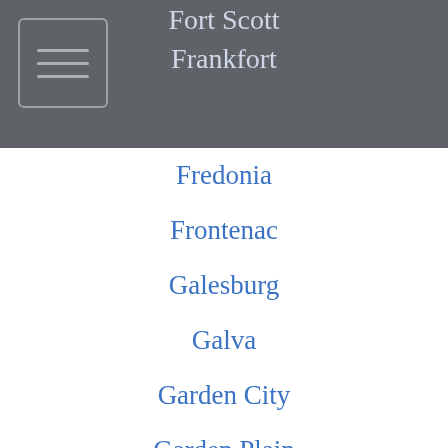Fort Scott
Frankfort
Fredonia
Frontenac
Galesburg
Galva
Garden City
Garden Plain
Garfield
Garnett